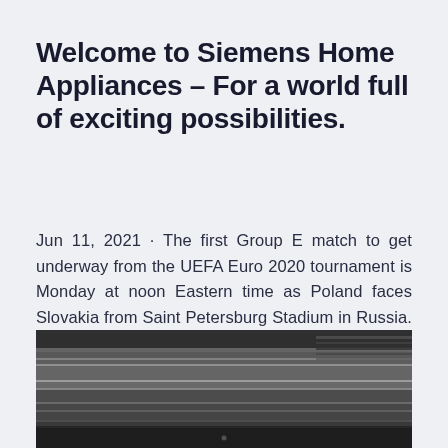Welcome to Siemens Home Appliances – For a world full of exciting possibilities.
Jun 11, 2021 · The first Group E match to get underway from the UEFA Euro 2020 tournament is Monday at noon Eastern time as Poland faces Slovakia from Saint Petersburg Stadium in Russia. Spain vs. Sweden Oct 10, 2019 · Our prediction for this Euro 2020 match: Austria.
[Figure (photo): Partially visible blurred black and white photograph at the bottom of the page, appears to show an indoor or outdoor scene.]